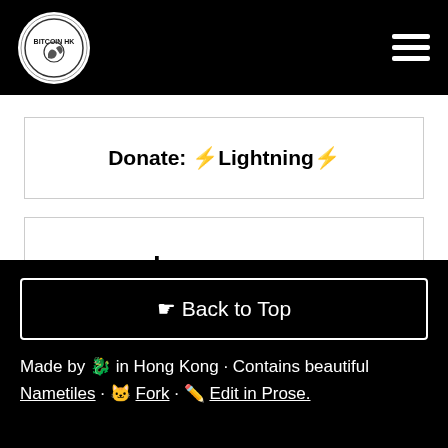Bitcoin HK [logo] [hamburger menu]
Donate: ⚡Lightning⚡
Learn more
☛ Back to Top
Made by 🐉 in Hong Kong · Contains beautiful Nametiles · 🐱 Fork · ✏ Edit in Prose.